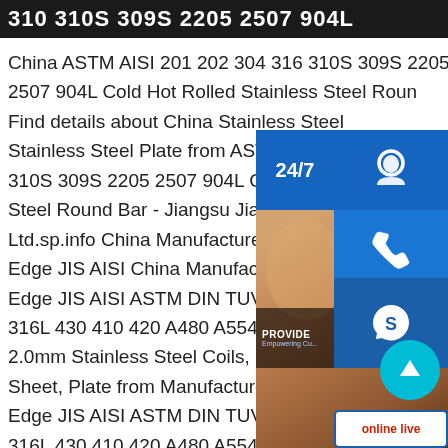310 310S 309S 2205 2507 904L
China ASTM AISI 201 202 304 316 310S 309S 2205 2507 904L Cold Hot Rolled Stainless Steel Round Bar. Find details about China Stainless Steel Stainless Steel Plate from ASTM AISI 201 202 304 316 310S 309S 2205 2507 904L Cold Hot Rolled Stainless Steel Round Bar - Jiangsu Jianghehai Stainless Steel Co., Ltd.sp.info China Manufacturer Ti Coated Stainless Steel Slit Edge JIS AISI China Manufacturer Ti Coated Stainless Steel Slit Edge JIS AISI ASTM DIN TUV BV 201 304 316L 430 410 420 A480 A554 A276 0.2mm 0.5mm 2.0mm Stainless Steel Coils, Find details about China Stainless Steel Sheet, Plate from Manufacturer Ti Coated Cold Rolled Slit Edge JIS AISI ASTM DIN TUV BV 201 304ddq 316 304L 316L 430 410 420 A480 A554 A276 0.2mm 0.5mm
[Figure (infographic): Customer service overlay panel with 24/7 support icon (headset), phone icon, Skype icon, 'PROVIDE - Empowering Customers' branding, 'online live' button, and a teal scroll-to-top button. Background shows a partial photo of a customer service representative.]